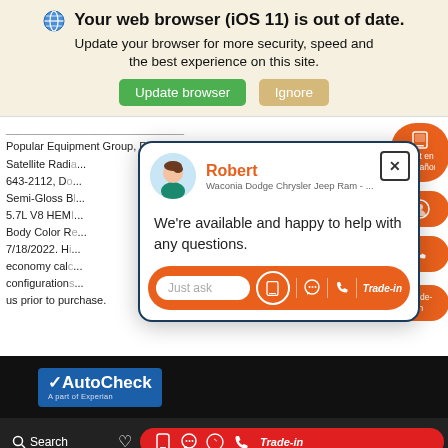[Figure (screenshot): Browser update notification banner with globe icon, bold title 'Your web browser (iOS 11) is out of date.', subtitle text, and two buttons: green 'Update browser' and beige 'Ignore']
Popular Equipment Group, Remote Keyless Entry w/All-Secure, SiriusXM Satellite Radi... all 643-2112, D... ls: Semi-Gloss B... En 5.7L V8 HEM... og Body Color R... or 7/18/2022. H... on economy cal... in configuration... by us prior to purchase.
[Figure (screenshot): Live chat popup modal with avatar of agent Robert from Waconia Dodge Chrysler Jeep Ram, message 'We're available and happy to help with any questions.', and a chat input bar with 'Just ask' placeholder, phone icon, chat icon, call icon, and Trade-in button]
[Figure (screenshot): AutoCheck (a part of Experian) logo on black background]
[Figure (screenshot): Dark bottom navigation bar with Search icon, heart icon, and a red pill-shaped button containing phone, chat, messenger, call icons and Trade-in label. Orange sidebar with Text en Español and Trade-in buttons.]